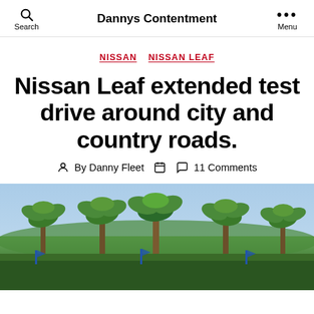Dannys Contentment
NISSAN  NISSAN LEAF
Nissan Leaf extended test drive around city and country roads.
By Danny Fleet  11 Comments
[Figure (photo): Outdoor scene with palm trees and blue sky, appears to be a Nissan event or dealership area]